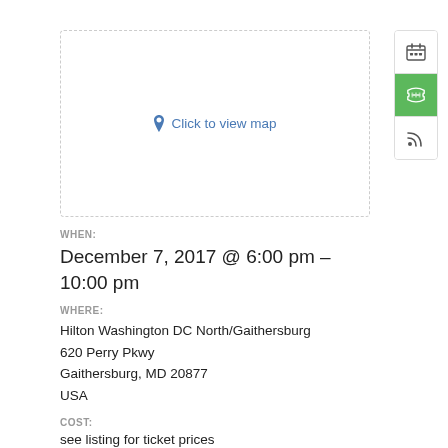[Figure (map): Map placeholder box with 'Click to view map' link and location pin icon]
WHEN:
December 7, 2017 @ 6:00 pm – 10:00 pm
WHERE:
Hilton Washington DC North/Gaithersburg
620 Perry Pkwy
Gaithersburg, MD 20877
USA
COST:
see listing for ticket prices